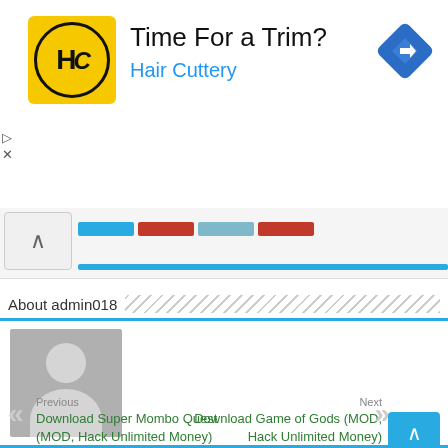[Figure (screenshot): Hair Cuttery advertisement banner with yellow HC logo, 'Time For a Trim?' headline, 'Hair Cuttery' subtitle in blue, and a blue navigation/directions icon on the right]
[Figure (screenshot): Progress/tab bar area with expand chevron button and colored progress bar segments (blue, red/orange, teal, red) with a blue bottom line]
About admin018
[Figure (photo): Default user avatar placeholder - grey rectangle with white silhouette of a person (circle head and torso)]
Previous
Download Super Mombo Quest (MOD, Hack Unlimited Money)
Next
Download Game of Gods (MOD, Hack Unlimited Money)